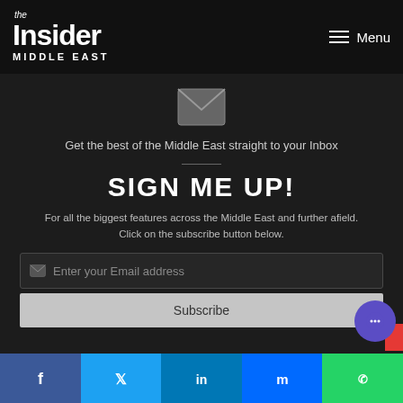the Insider MIDDLE EAST — Menu
[Figure (logo): Envelope icon for newsletter signup]
Get the best of the Middle East straight to your Inbox
SIGN ME UP!
For all the biggest features across the Middle East and further afield. Click on the subscribe button below.
Enter your Email address
Subscribe
Facebook  Twitter  LinkedIn  Messenger  WhatsApp